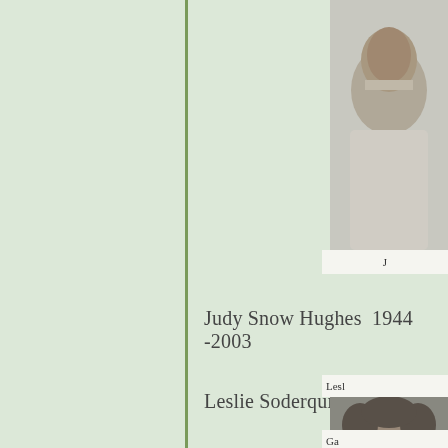[Figure (photo): Black and white portrait photo of a person, partially visible at top right corner]
J
Judy Snow Hughes  1944 -2003
[Figure (photo): Black and white portrait photo of Leslie Soderquist]
Lesl
Leslie Soderquist
Ga